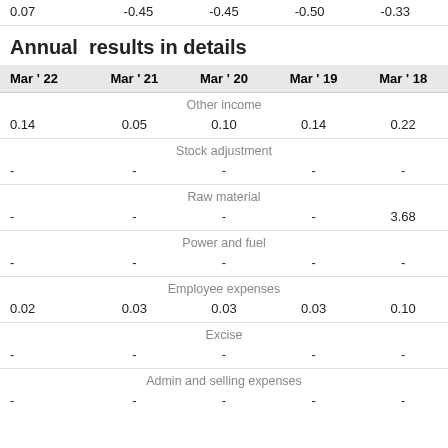0.07   -0.45   -0.45   -0.50   -0.33
Annual results in details
| Mar ' 22 | Mar ' 21 | Mar ' 20 | Mar ' 19 | Mar ' 18 |
| --- | --- | --- | --- | --- |
| Other income |  |  |  |  |
| 0.14 | 0.05 | 0.10 | 0.14 | 0.22 |
| Stock adjustment |  |  |  |  |
| - | - | - | - | - |
| Raw material |  |  |  |  |
| - | - | - | - | 3.68 |
| Power and fuel |  |  |  |  |
| - | - | - | - | - |
| Employee expenses |  |  |  |  |
| 0.02 | 0.03 | 0.03 | 0.03 | 0.10 |
| Excise |  |  |  |  |
| - | - | - | - | - |
| Admin and selling expenses |  |  |  |  |
| - | - | - | - | - |